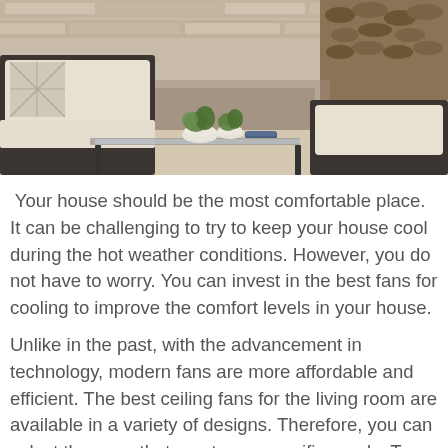[Figure (photo): Outdoor patio furniture scene with wicker sofa with beige cushions, a glass-topped coffee table with white potted plants and a book, stone fireplace with stacked logs in background, woven rug on floor.]
Your house should be the most comfortable place. It can be challenging to try to keep your house cool during the hot weather conditions. However, you do not have to worry. You can invest in the best fans for cooling to improve the comfort levels in your house.
Unlike in the past, with the advancement in technology, modern fans are more affordable and efficient. The best ceiling fans for the living room are available in a variety of designs. Therefore, you can select the ones that meet your specific needs. To help you make the right